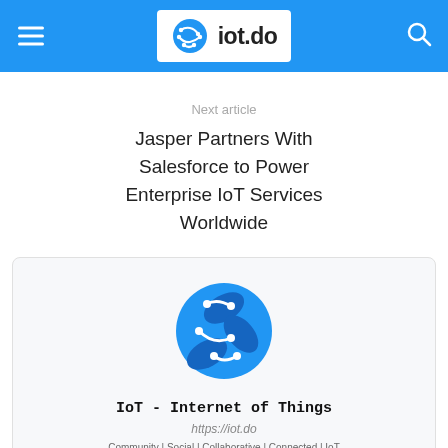iot.do
Next article
Jasper Partners With Salesforce to Power Enterprise IoT Services Worldwide
[Figure (logo): iot.do logo — blue circular globe with circuit-board traces and white connector lines]
IoT - Internet of Things
https://iot.do
Community | Social | Collaborative | Connected | IoT